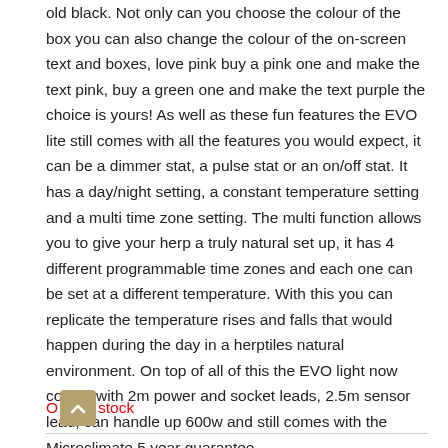old black. Not only can you choose the colour of the box you can also change the colour of the on-screen text and boxes, love pink buy a pink one and make the text pink, buy a green one and make the text purple the choice is yours! As well as these fun features the EVO lite still comes with all the features you would expect, it can be a dimmer stat, a pulse stat or an on/off stat. It has a day/night setting, a constant temperature setting and a multi time zone setting. The multi function allows you to give your herp a truly natural set up, it has 4 different programmable time zones and each one can be set at a different temperature. With this you can replicate the temperature rises and falls that would happen during the day in a herptiles natural environment. On top of all of this the EVO light now comes with 2m power and socket leads, 2.5m sensor lead, can handle up 600w and still comes with the Microclimate 5 year guarantee.
Out of stock